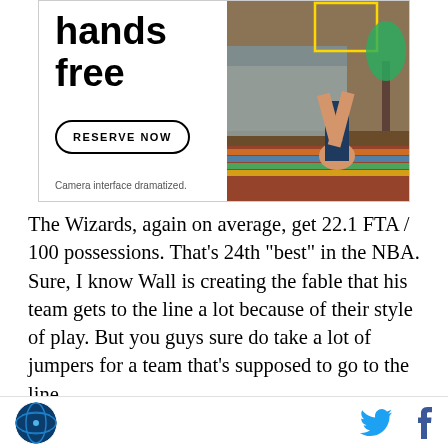[Figure (photo): Advertisement banner showing text 'hands free' with a 'RESERVE NOW' button on the left side, and a photo of a person doing a handstand on the right side. Fine print reads 'Camera interface dramatized.']
The Wizards, again on average, get 22.1 FTA / 100 possessions. That’s 24th “best” in the NBA. Sure, I know Wall is creating the fable that his team gets to the line a lot because of their style of play. But you guys sure do take a lot of jumpers for a team that’s supposed to go to the line.
If you cross multiply for the 90.6 pace game you get